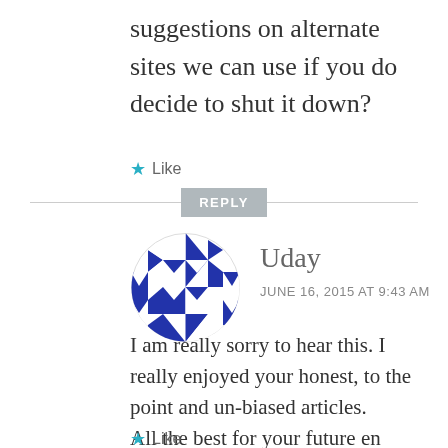suggestions on alternate sites we can use if you do decide to shut it down?
★ Like
REPLY
[Figure (illustration): Circular avatar icon with blue and white geometric diamond/triangle pattern]
Uday
JUNE 16, 2015 AT 9:43 AM
I am really sorry to hear this. I really enjoyed your honest, to the point and un-biased articles.
All the best for your future en devours.
★ Like